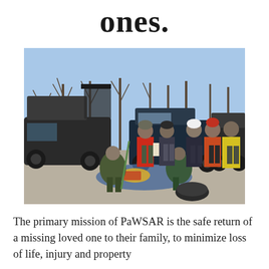ones.
[Figure (photo): Search and rescue team members in a gravel parking lot surrounded by bare winter trees and several SUVs. People in colorful cold-weather gear (red, yellow, black, green jackets) are gathered around gear spread on a blue tarp on the ground. One person holds a clipboard. Trees are leafless against a clear blue sky.]
The primary mission of PaWSAR is the safe return of a missing loved one to their family, to minimize loss of life, injury and property